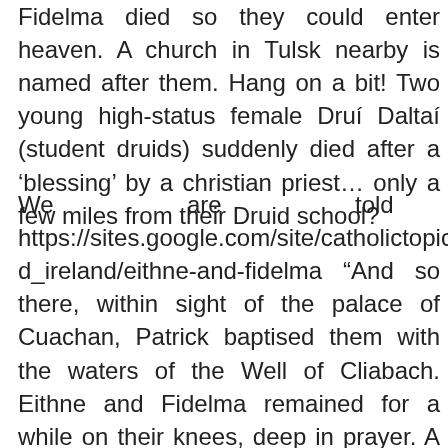Fidelma died so they could enter heaven. A church in Tulsk nearby is named after them. Hang on a bit! Two young high-status female Druí Daltaí (student druids) suddenly died after a 'blessing' by a christian priest... only a few miles from their Druid school?
We are told – https://sites.google.com/site/catholictopics/s_patrick_and_ireland/eithne-and-fidelma "And so there, within sight of the palace of Cuachan, Patrick baptised them with the waters of the Well of Cliabach. Eithne and Fidelma remained for a while on their knees, deep in prayer. A rough stone altar was made ready and Patrick prepared to say Mass. Before the Mass began the two girls came forward again, saying, "We wish to consecrate ourselves as Spouses of Christ". Patrick received their vows and placed over them the Veil – the first consecrated virgins in Ireland. Then they wished to see the Face of Christ. But Patrick replied, "You cannot do that, until you have tasted the Sacrifice and passed through the Door of